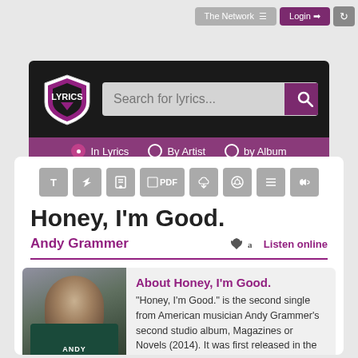The Network  Login
[Figure (screenshot): Lyrics website header with shield logo, search bar reading 'Search for lyrics...', and radio options: In Lyrics, By Artist, by Album]
Honey, I'm Good.
Andy Grammer
Listen online
About Honey, I'm Good.
"Honey, I'm Good." is the second single from American musician Andy Grammer's second studio album, Magazines or Novels (2014). It was first released in the